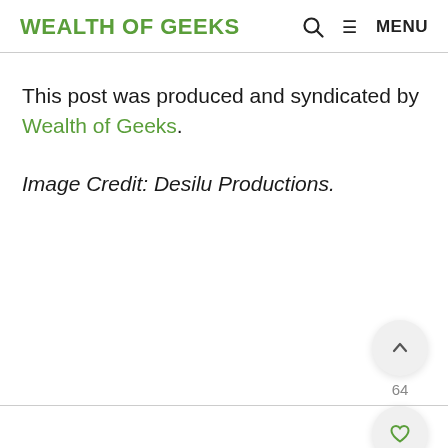WEALTH OF GEEKS
This post was produced and syndicated by Wealth of Geeks.
Image Credit: Desilu Productions.